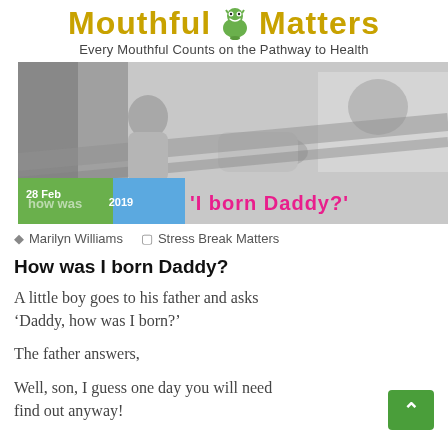Mouthful Matters — Every Mouthful Counts on the Pathway to Health
[Figure (photo): Black and white photo of a person in a hammock, with overlay text '28 Feb 2019' and 'how was I born Daddy?' in pink text on green/blue banner]
Marilyn Williams   Stress Break Matters
How was I born Daddy?
A little boy goes to his father and asks 'Daddy, how was I born?'
The father answers,
Well, son, I guess one day you will need find out anyway!